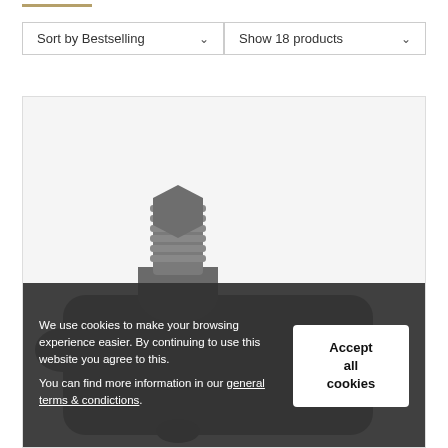[Figure (screenshot): Golden underline/logo bar at top left]
Sort by Bestselling
Show 18 products
[Figure (photo): Cable gland / electrical connector product image, dark grey metallic, partially visible]
We use cookies to make your browsing experience easier. By continuing to use this website you agree to this.
You can find more information in our general terms & condictions.
Accept all cookies